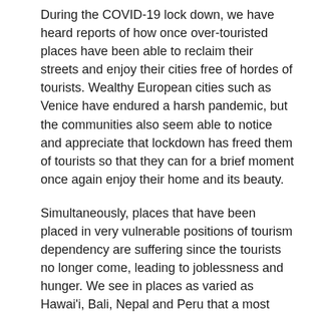During the COVID-19 lock down, we have heard reports of how once over-touristed places have been able to reclaim their streets and enjoy their cities free of hordes of tourists. Wealthy European cities such as Venice have endured a harsh pandemic, but the communities also seem able to notice and appreciate that lockdown has freed them of tourists so that they can for a brief moment once again enjoy their home and its beauty.
Simultaneously, places that have been placed in very vulnerable positions of tourism dependency are suffering since the tourists no longer come, leading to joblessness and hunger. We see in places as varied as Hawai'i, Bali, Nepal and Peru that a most damaging form of tourism has been forced on them, taking precious land, water, culture and spirituality and shaping these into gated resorts, privatised beaches, endless junk souvenir shops, yoga retreats and sham ceremonies.
We recognise both the pain and the opportunity that this crisis